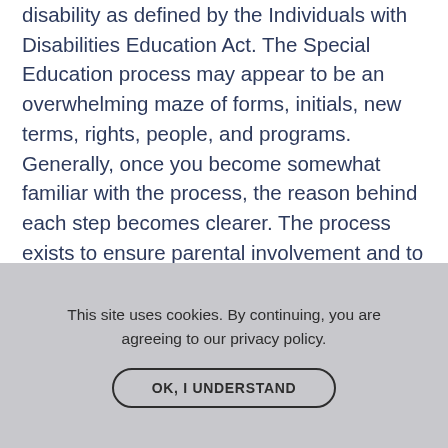disability as defined by the Individuals with Disabilities Education Act. The Special Education process may appear to be an overwhelming maze of forms, initials, new terms, rights, people, and programs. Generally, once you become somewhat familiar with the process, the reason behind each step becomes clearer. The process exists to ensure parental involvement and to ensure that identified students with disabilities receive an appropriate education. It is important to note that Special Education is a federal program, meaning that it is available in every district in every state in the country. The basic processes described below will
This site uses cookies. By continuing, you are agreeing to our privacy policy.
OK, I UNDERSTAND